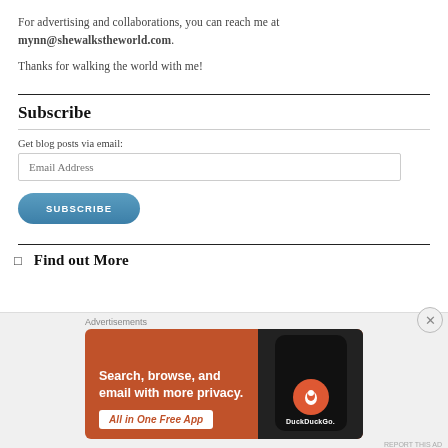For advertising and collaborations, you can reach me at mynn@shewalkstheworld.com.
Thanks for walking the world with me!
Subscribe
Get blog posts via email:
Email Address
SUBSCRIBE
Find out More
[Figure (screenshot): DuckDuckGo advertisement banner with orange background. Text reads 'Search, browse, and email with more privacy. All in One Free App' with DuckDuckGo logo and phone image on dark right side. 'Advertisements' label above. Close (X) button top right.]